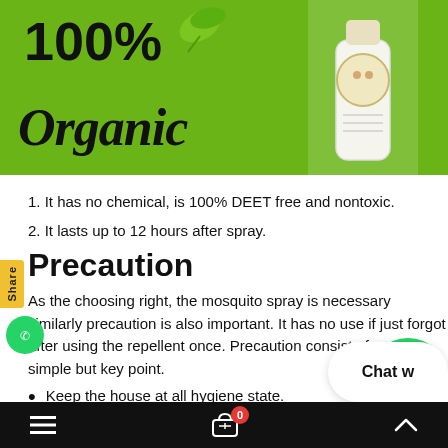[Figure (photo): 100% Organic product image with green leaf logo on white background and a spray bottle product on green background]
1. It has no chemical, is 100% DEET free and nontoxic.
2. It lasts up to 12 hours after spray.
Precaution
As the choosing right, the mosquito spray is necessary similarly precaution is also important. It has no use if just forgot after using the repellent once. Precaution consist of some simple but key point.
Keep the house at all hygiene state.
Clear the clutter and empty the water containers at once a week.
≡  🛒 0  ∧